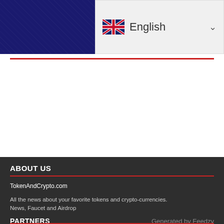[Figure (screenshot): Website header with dark navy blue background on the left and a language selector showing UK flag and 'English' with a dropdown chevron on the right]
ABOUT US
TokenAndCrypto.com
All the news about your favorite tokens and crypto-currencies. News, Faucet and Airdrop
PARTNERS
Generated by Feedzy